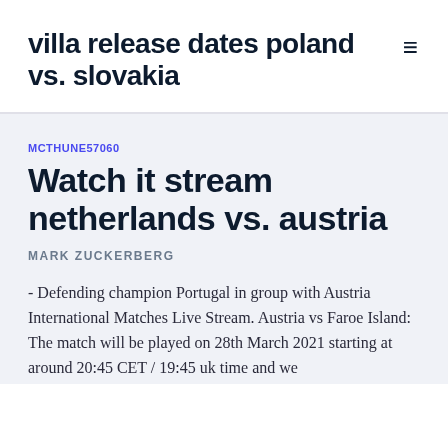villa release dates poland vs. slovakia
MCTHUNE57060
Watch it stream netherlands vs. austria
MARK ZUCKERBERG
- Defending champion Portugal in group with Austria International Matches Live Stream. Austria vs Faroe Island: The match will be played on 28th March 2021 starting at around 20:45 CET / 19:45 uk time and we